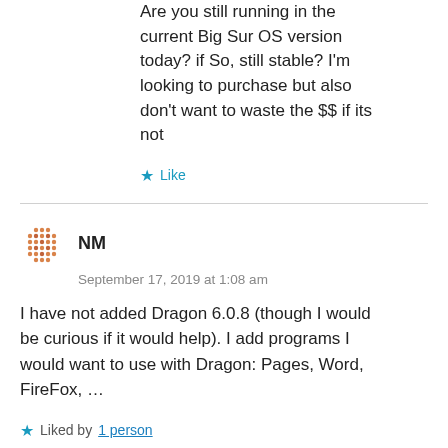Are you still running in the current Big Sur OS version today? if So, still stable? I'm looking to purchase but also don't want to waste the $$ if its not
Like
NM
September 17, 2019 at 1:08 am
I have not added Dragon 6.0.8 (though I would be curious if it would help). I add programs I would want to use with Dragon: Pages, Word, FireFox, ...
Liked by 1 person